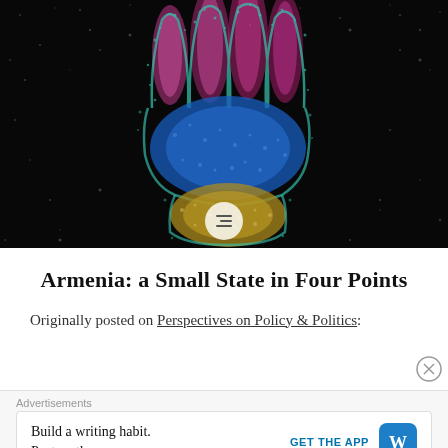[Figure (photo): Dark background with a glitter/sparkle hand illustration showing Armenian flag colors — pink/red fingers at top, blue palm in middle, and gold/yellow at the wrist — outlined in teal/cyan glitter on a black surface.]
Armenia: a Small State in Four Points
Originally posted on Perspectives on Policy & Politics:
Advertisements
Build a writing habit. Post on the go.
GET THE APP